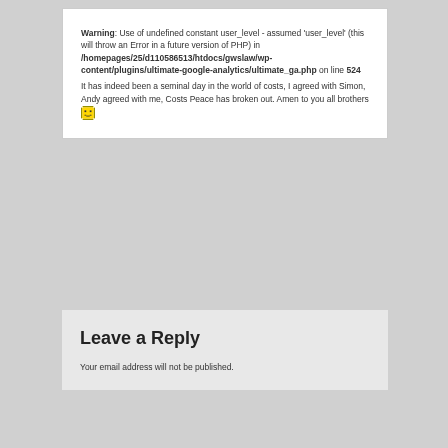Warning: Use of undefined constant user_level - assumed 'user_level' (this will throw an Error in a future version of PHP) in /homepages/25/d110586513/htdocs/gwslaw/wp-content/plugins/ultimate-google-analytics/ultimate_ga.php on line 524
It has indeed been a seminal day in the world of costs, I agreed with Simon, Andy agreed with me, Costs Peace has broken out. Amen to you all brothers 😀
Leave a Reply
Your email address will not be published.